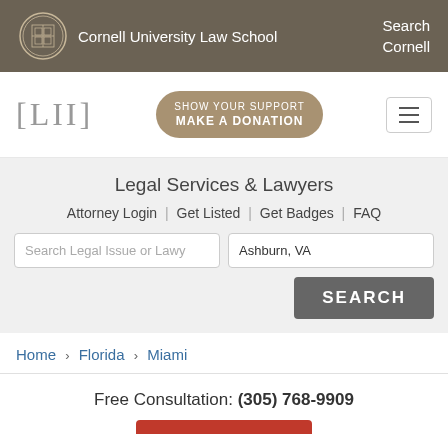Cornell University Law School | Search Cornell
[Figure (logo): Cornell University Law School LII logo with seal and navigation bar including SHOW YOUR SUPPORT MAKE A DONATION button]
Legal Services & Lawyers
Attorney Login | Get Listed | Get Badges | FAQ
Search Legal Issue or Lawy | Ashburn, VA | SEARCH
Home › Florida › Miami
Free Consultation: (305) 768-9909